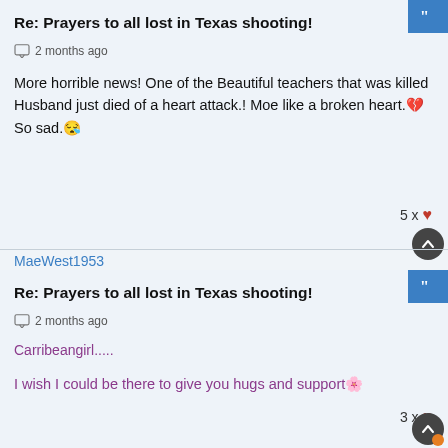Re: Prayers to all lost in Texas shooting!
2 months ago
More horrible news! One of the Beautiful teachers that was killed Husband just died of a heart attack.! Moe like a broken heart.💔 So sad.😢
5 x ❤
MaeWest1953
Re: Prayers to all lost in Texas shooting!
2 months ago
Carribeangirl.....
I wish I could be there to give you hugs and support🌸
3 x ❤